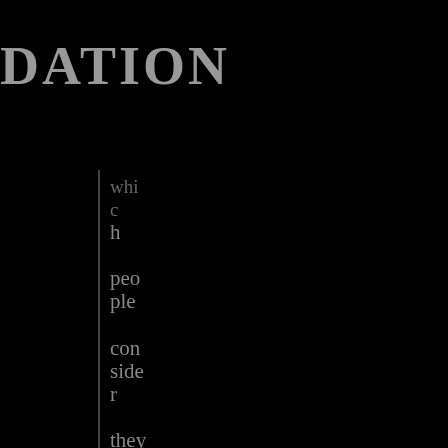DATION
which people consider they have obtained
eoge ns and Consciousness
Psychology and Psychotherapy
Parapsychology and Psychical Research